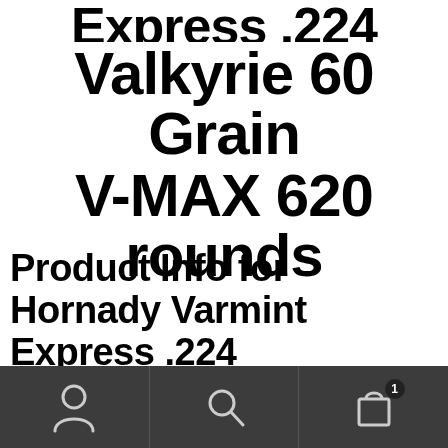Valkyrie 60 Grain V-MAX 620 rounds
Product Info for Hornady Varmint Express .224
"MDT AICS .300 WSM/6.5 PRC Metal Magazine" has been added to your cart.
VIEW CART
Bottom navigation bar with account, search, and cart (1 item) icons